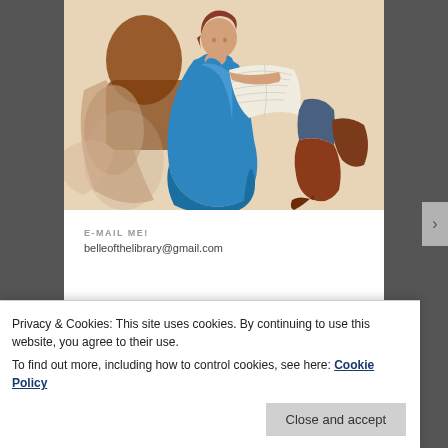[Figure (illustration): Vintage illustration of a woman in a blue dress sitting and reading a newspaper, with two other figures partially visible. Warm beige/cream background with painterly style.]
E-MAIL ME!
belleofthelibrary@gmail.com
Privacy & Cookies: This site uses cookies. By continuing to use this website, you agree to their use.
To find out more, including how to control cookies, see here: Cookie Policy
Close and accept